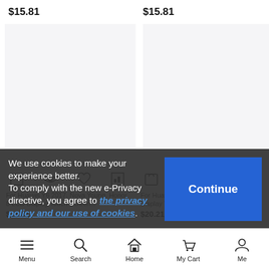$15.81
$15.81
[Figure (photo): Product image placeholder left - light gray box]
[Figure (photo): Product image placeholder right - light gray box]
For Huawei Y6 2017, Nova Young, Honor 8 LCD Display Touch Screen...
For Huawei Y6 2017, Nova Young, Ho... Display To...
$15.81
$20.21
We use cookies to make your experience better.
To comply with the new e-Privacy directive, you agree to the privacy policy and our use of cookies.
Menu   Search   Home   My Cart   Me